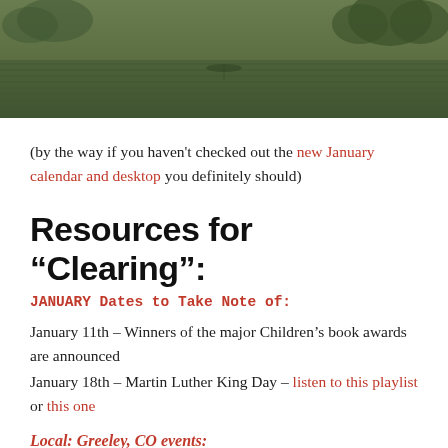[Figure (photo): A green-toned nature/landscape photo showing trees and water, used as a header image for a blog post.]
(by the way if you haven't checked out the new January calendar and desktop you definitely should)
Resources for “Clearing”:
JANUARY Dates to Take Note of:
January 11th – Winners of the major Children’s book awards are announced
January 18th – Martin Luther King Day – listen to this playlist or this one
Local: Greeley, CO events: